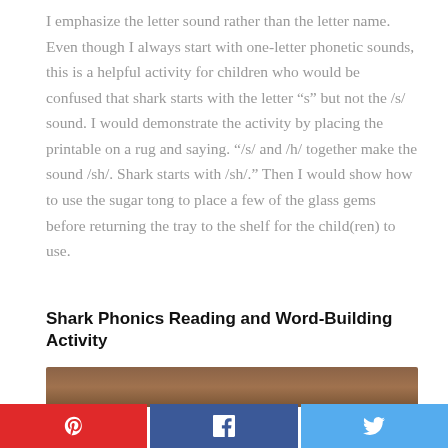I emphasize the letter sound rather than the letter name. Even though I always start with one-letter phonetic sounds, this is a helpful activity for children who would be confused that shark starts with the letter “s” but not the /s/ sound. I would demonstrate the activity by placing the printable on a rug and saying. “/s/ and /h/ together make the sound /sh/. Shark starts with /sh/.” Then I would show how to use the sugar tong to place a few of the glass gems before returning the tray to the shelf for the child(ren) to use.
Shark Phonics Reading and Word-Building Activity
[Figure (photo): Partial photo of a wooden surface or tray, cropped at the top of the image area]